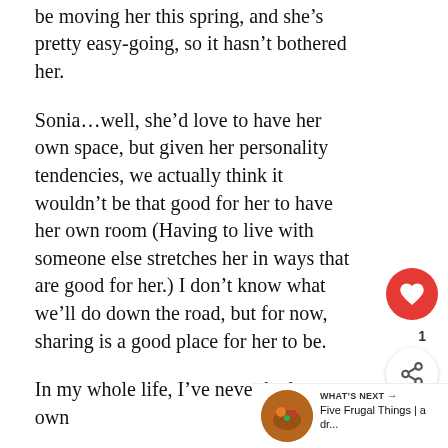be moving her this spring, and she’s pretty easy-going, so it hasn’t bothered her.
Sonia…well, she’d love to have her own space, but given her personality tendencies, we actually think it wouldn’t be that good for her to have her own room (Having to live with someone else stretches her in ways that are good for her.) I don’t know what we’ll do down the road, but for now, sharing is a good place for her to be.
In my whole life, I’ve never had my own